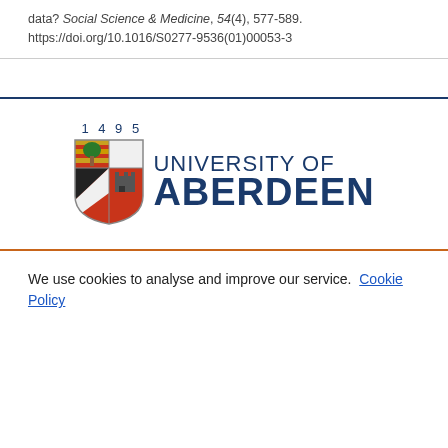data? Social Science & Medicine, 54(4), 577-589. https://doi.org/10.1016/S0277-9536(01)00053-3
[Figure (logo): University of Aberdeen logo with shield crest showing 1495 founding year and university name in dark blue]
We use cookies to analyse and improve our service. Cookie Policy